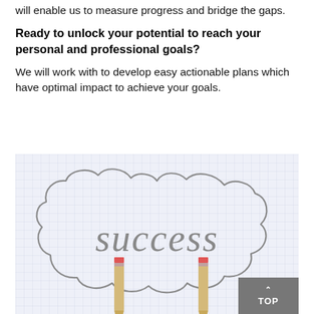will enable us to measure progress and bridge the gaps.
Ready to unlock your potential to reach your personal and professional goals?
We will work with to develop easy actionable plans which have optimal impact to achieve your goals.
[Figure (photo): A photo showing a thought bubble / cloud shape drawn on graph paper with the word 'success' written inside it in handwritten-style letters, with two pencils pointing upward from below the bubble.]